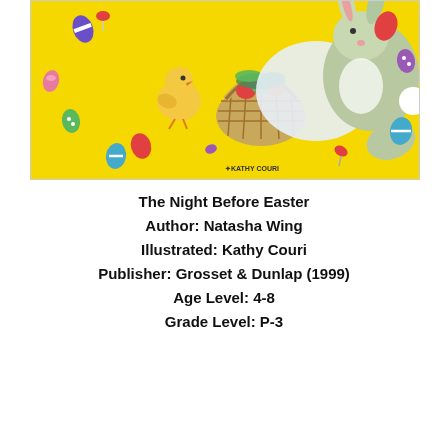[Figure (illustration): Book cover of 'The Night Before Easter' showing Easter bunny, colorful Easter eggs, a chick, and a basket on a yellow background. Illustrated by Kathy Couri.]
The Night Before Easter
Author: Natasha Wing
Illustrated: Kathy Couri
Publisher: Grosset & Dunlap (1999)
Age Level: 4-8
Grade Level: P-3